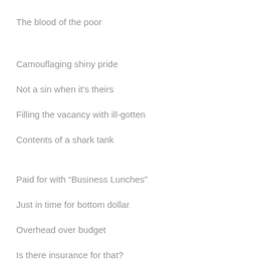The blood of the poor
Camouflaging shiny pride
Not a sin when it’s theirs
Filling the vacancy with ill-gotten
Contents of a shark tank
Paid for with “Business Lunches”
Just in time for bottom dollar
Overhead over budget
Is there insurance for that?